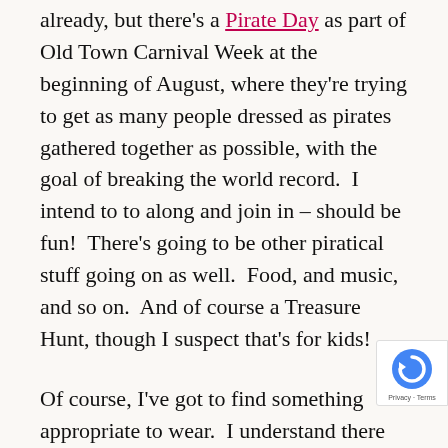already, but there's a Pirate Day as part of Old Town Carnival Week at the beginning of August, where they're trying to get as many people dressed as pirates gathered together as possible, with the goal of breaking the world record.  I intend to to along and join in – should be fun!  There's going to be other piratical stuff going on as well.  Food, and music, and so on.  And of course a Treasure Hunt, though I suspect that's for kids!
Of course, I've got to find something appropriate to wear.  I understand there are certain dress code rules that you have to follow to be considered one of the official pirate crew, though I don't know what that is yet.  I must